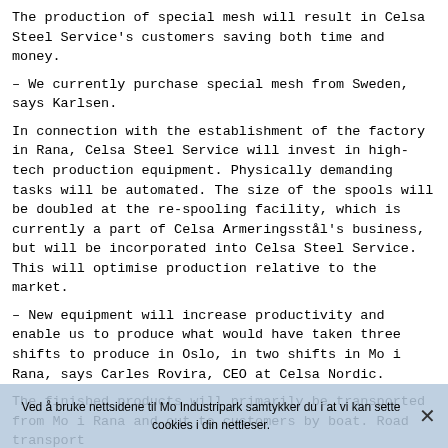The production of special mesh will result in Celsa Steel Service's customers saving both time and money.
– We currently purchase special mesh from Sweden, says Karlsen.
In connection with the establishment of the factory in Rana, Celsa Steel Service will invest in high-tech production equipment. Physically demanding tasks will be automated. The size of the spools will be doubled at the re-spooling facility, which is currently a part of Celsa Armeringsstål's business, but will be incorporated into Celsa Steel Service. This will optimise production relative to the market.
– New equipment will increase productivity and enable us to produce what would have taken three shifts to produce in Oslo, in two shifts in Mo i Rana, says Carles Rovira, CEO at Celsa Nordic.
The finished products will primarily be transported from Mo i Rana and out to customers by boat. Road transport
Ved å bruke nettsidene til Mo Industripark samtykker du i at vi kan sette cookies i din nettleser.